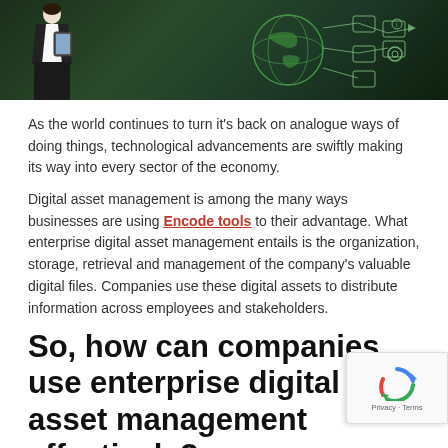[Figure (photo): Hero image showing a person in business attire holding a tablet, with green digital world/globe and technology overlay graphics on a dark background]
As the world continues to turn it's back on analogue ways of doing things, technological advancements are swiftly making its way into every sector of the economy.
Digital asset management is among the many ways businesses are using Encode tools to their advantage. What enterprise digital asset management entails is the organization, storage, retrieval and management of the company's valuable digital files. Companies use these digital assets to distribute information across employees and stakeholders.
So, how can companies use enterprise digital asset management effectively?
[Figure (logo): reCAPTCHA badge with Privacy and Terms text]